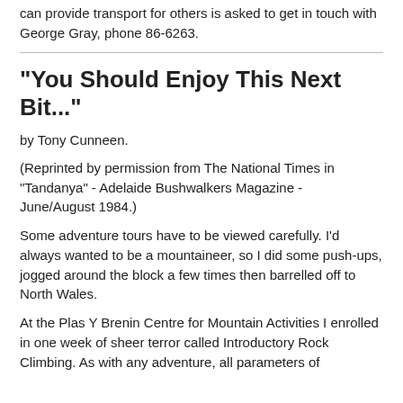can provide transport for others is asked to get in touch with George Gray, phone 86-6263.
"You Should Enjoy This Next Bit..."
by Tony Cunneen.
(Reprinted by permission from The National Times in "Tandanya" - Adelaide Bushwalkers Magazine - June/August 1984.)
Some adventure tours have to be viewed carefully. I'd always wanted to be a mountaineer, so I did some push-ups, jogged around the block a few times then barrelled off to North Wales.
At the Plas Y Brenin Centre for Mountain Activities I enrolled in one week of sheer terror called Introductory Rock Climbing. As with any adventure, all parameters of